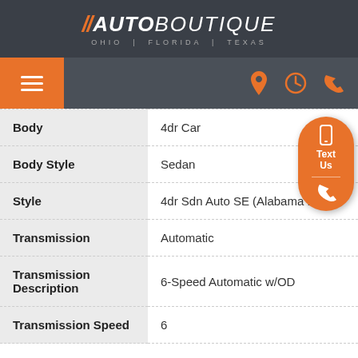//AUTOBOUTIQUE OHIO | FLORIDA | TEXAS
[Figure (screenshot): Navigation bar with hamburger menu (orange) on left, location/clock/phone icons (orange) on right]
| Attribute | Value |
| --- | --- |
| Body | 4dr Car |
| Body Style | Sedan |
| Style | 4dr Sdn Auto SE (Alabama Plant) |
| Transmission | Automatic |
| Transmission Description | 6-Speed Automatic w/OD |
| Transmission Speed | 6 |